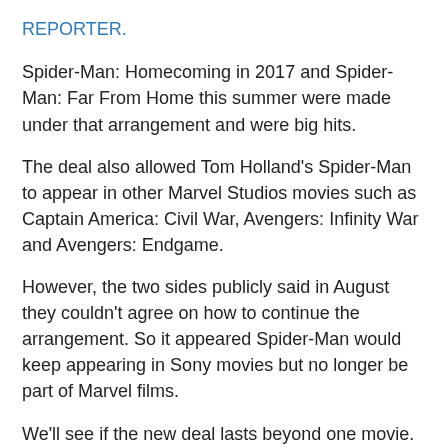REPORTER.
Spider-Man: Homecoming in 2017 and Spider-Man: Far From Home this summer were made under that arrangement and were big hits.
The deal also allowed Tom Holland's Spider-Man to appear in other Marvel Studios movies such as Captain America: Civil War, Avengers: Infinity War and Avengers: Endgame.
However, the two sides publicly said in August they couldn't agree on how to continue the arrangement. So it appeared Spider-Man would keep appearing in Sony movies but no longer be part of Marvel films.
We'll see if the new deal lasts beyond one movie. But both sides benefited from working together, with Sony getting a